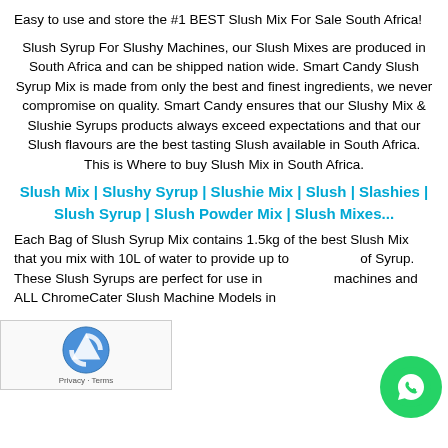Easy to use and store the #1 BEST Slush Mix For Sale South Africa!
Slush Syrup For Slushy Machines, our Slush Mixes are produced in South Africa and can be shipped nation wide. Smart Candy Slush Syrup Mix is made from only the best and finest ingredients, we never compromise on quality. Smart Candy ensures that our Slushy Mix & Slushie Syrups products always exceed expectations and that our Slush flavours are the best tasting Slush available in South Africa. This is Where to buy Slush Mix in South Africa.
Slush Mix | Slushy Syrup | Slushie Mix | Slush | Slashies | Slush Syrup | Slush Powder Mix | Slush Mixes...
Each Bag of Slush Syrup Mix contains 1.5kg of the best Slush Mix that you mix with 10L of water to provide up to ... of Syrup. These Slush Syrups are perfect for use in ... machines and ALL ChromeCater Slush Machine Models in